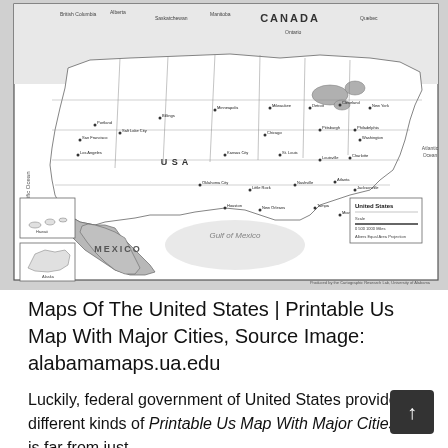[Figure (map): Black and white printable map of the United States showing major cities, state boundaries, neighboring countries (Canada, Mexico), and bodies of water (Gulf of Mexico, Pacific Ocean, Atlantic Ocean). Includes insets for Hawaii and Alaska. Features a legend box labeled 'United States' in the lower right corner. Credit line: 'Produced by the Cartographic Research Lab, University of Alabama'.]
Maps Of The United States | Printable Us Map With Major Cities, Source Image: alabamamaps.ua.edu
Luckily, federal government of United States provides different kinds of Printable Us Map With Major Cities. It is far from just